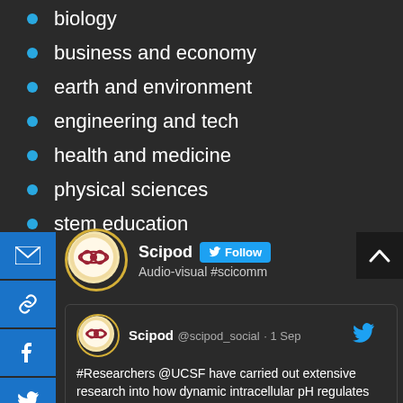biology
business and economy
earth and environment
engineering and tech
health and medicine
physical sciences
stem education
[Figure (screenshot): Scipod Twitter widget with Follow button, showing account name Scipod and description Audio-visual #scicomm]
Scipod @scipod_social · 1 Sep
#Researchers @UCSF have carried out extensive research into how dynamic intracellular pH regulates #cell behaviours & the impact that dysregulation can have in a wide